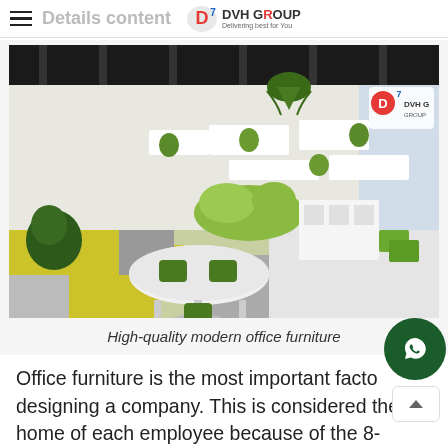Details content — DVH Group
[Figure (photo): Modern open-plan office interior with green and white chairs, round white table, yellow and grey checkered floor tiles, and DVH Group watermark logo in top-right corner.]
High-quality modern office furniture
Office furniture is the most important facto designing a company. This is considered the home of each employee because of the 8-hou working day. Directors who care about the most